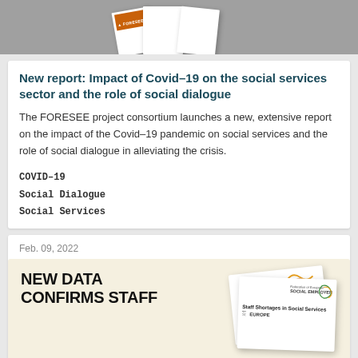[Figure (photo): Top image showing a FORESEE branded brochure/report spread on a grey background]
New report: Impact of Covid-19 on the social services sector and the role of social dialogue
The FORESEE project consortium launches a new, extensive report on the impact of the Covid-19 pandemic on social services and the role of social dialogue in alleviating the crisis.
COVID-19
Social Dialogue
Social Services
Feb. 09, 2022
[Figure (photo): Publication cover showing 'Staff Shortages in Social Services Europe' document with Federation of European Social Employers logo]
NEW DATA CONFIRMS STAFF